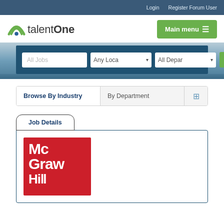Login   Register Forum User
[Figure (logo): talentOne logo with green arc icon and text]
Main menu
All Jobs   Any Location   All Departments   SEARCH
Browse By Industry   By Department
Job Details
[Figure (logo): McGraw Hill logo - red background with white bold text Mc Graw Hill]